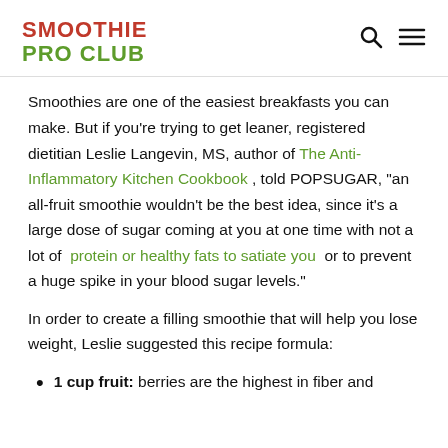SMOOTHIE PRO CLUB
Smoothies are one of the easiest breakfasts you can make. But if you're trying to get leaner, registered dietitian Leslie Langevin, MS, author of The Anti-Inflammatory Kitchen Cookbook , told POPSUGAR, "an all-fruit smoothie wouldn't be the best idea, since it's a large dose of sugar coming at you at one time with not a lot of  protein or healthy fats to satiate you  or to prevent a huge spike in your blood sugar levels."
In order to create a filling smoothie that will help you lose weight, Leslie suggested this recipe formula:
1 cup fruit: berries are the highest in fiber and